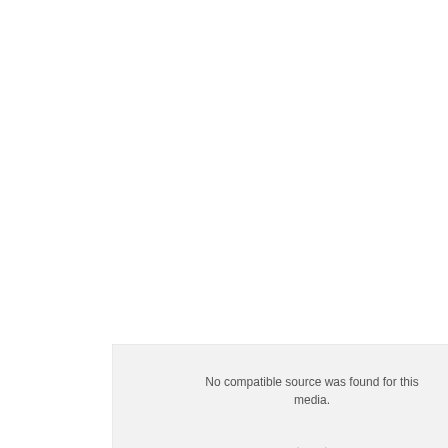[Figure (other): A media player error box with light gray background showing the message 'No compatible source was found for this media.' and a large X icon indicating media playback failure.]